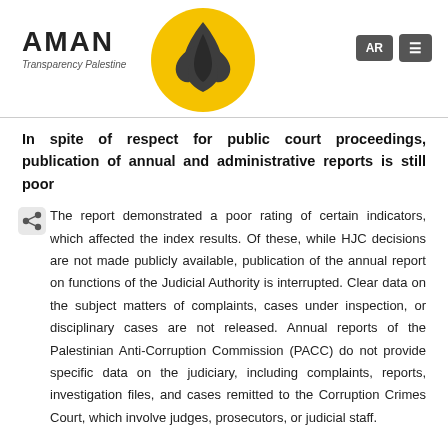[Figure (logo): AMAN Transparency Palestine logo with yellow flame/bird emblem]
In spite of respect for public court proceedings, publication of annual and administrative reports is still poor
The report demonstrated a poor rating of certain indicators, which affected the index results. Of these, while HJC decisions are not made publicly available, publication of the annual report on functions of the Judicial Authority is interrupted. Clear data on the subject matters of complaints, cases under inspection, or disciplinary cases are not released. Annual reports of the Palestinian Anti-Corruption Commission (PACC) do not provide specific data on the judiciary, including complaints, reports, investigation files, and cases remitted to the Corruption Crimes Court, which involve judges, prosecutors, or judicial staff.